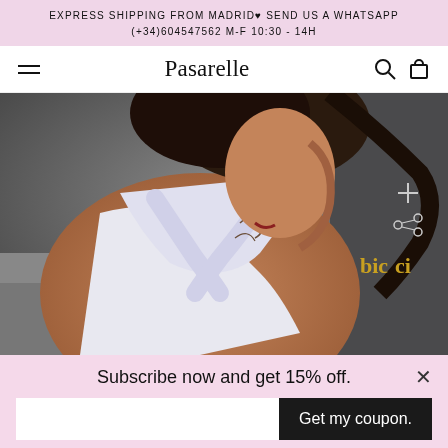EXPRESS SHIPPING FROM MADRID♥ SEND US A WHATSAPP (+34)604547562 M-F 10:30 - 14H
Pasarelle
[Figure (photo): Young woman with dark hair wearing a white cross-back top, showing the back with crossed straps, with tattoos visible. Urban outdoor background. Plus and share icons visible on right side.]
Subscribe now and get 15% off.
Get my coupon.